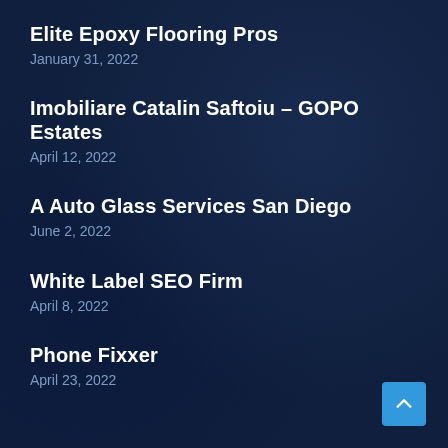Elite Epoxy Flooring Pros
January 31, 2022
Imobiliare Catalin Saftoiu – GOPO Estates
April 12, 2022
A Auto Glass Services San Diego
June 2, 2022
White Label SEO Firm
April 8, 2022
Phone Fixxer
April 23, 2022